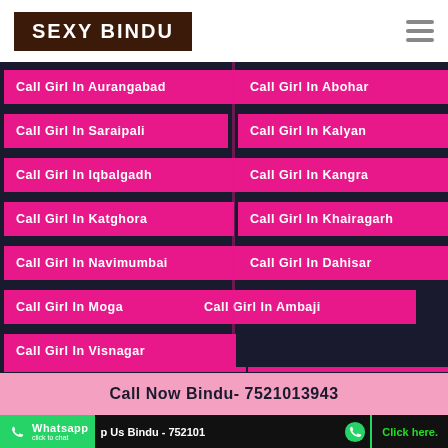SEXY BINDU
Call Girl In Aurangabad
Call Girl In Abohar
Call Girl In Saraipali
Call Girl In Kalyan
Call Girl In Iqbalgadh
Call Girl In Kangra
Call Girl In Katghora
Call Girl In Khairagarh
Call Girl In Navimumbai
Call Girl In Dahisar
Call Girl In Moga
Call Girl In Ambaji
Call Girl In Visnagar
Call Girl In Jashnurnagar
Call Girl In Tartoli
Call Now Bindu- 7521013943
Whatsapp Us Bindu - 7521013943
Click here.